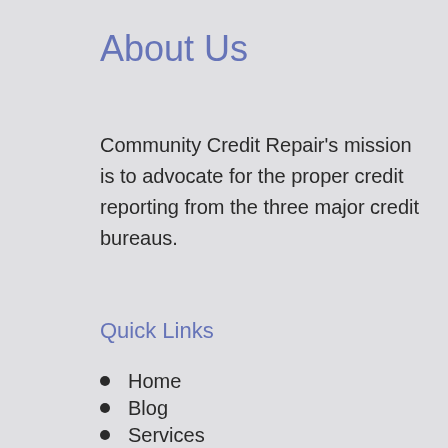About Us
Community Credit Repair’s mission is to advocate for the proper credit reporting from the three major credit bureaus.
Quick Links
Home
Blog
Services
Locations
Credit Repair